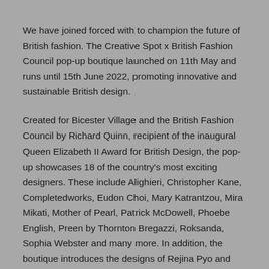We have joined forced with to champion the future of British fashion. The Creative Spot x British Fashion Council pop-up boutique launched on 11th May and runs until 15th June 2022, promoting innovative and sustainable British design.
Created for Bicester Village and the British Fashion Council by Richard Quinn, recipient of the inaugural Queen Elizabeth II Award for British Design, the pop-up showcases 18 of the country's most exciting designers. These include Alighieri, Christopher Kane, Completedworks, Eudon Choi, Mary Katrantzou, Mira Mikati, Mother of Pearl, Patrick McDowell, Phoebe English, Preen by Thornton Bregazzi, Roksanda, Sophia Webster and many more. In addition, the boutique introduces the designs of Rejina Pyo and Tata Naka to Bicester Village and features shows. Not all the...